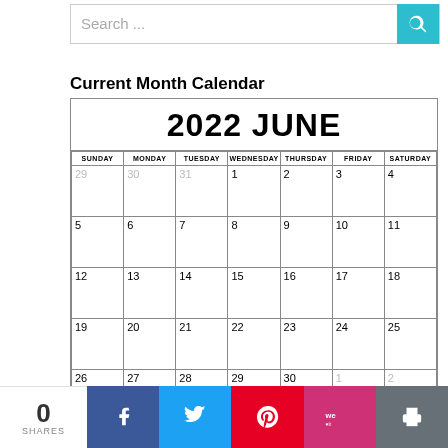[Figure (screenshot): Search bar with teal search button icon]
Current Month Calendar
| SUNDAY | MONDAY | TUESDAY | WEDNESDAY | THURSDAY | FRIDAY | SATURDAY |
| --- | --- | --- | --- | --- | --- | --- |
| 29 | 30 | 31 | 1 | 2 | 3 | 4 |
| 5 | 6 | 7 | 8 | 9 | 10 | 11 |
| 12 | 13 | 14 | 15 | 16 | 17 | 18 |
| 19 | 20 | 21 | 22 | 23 | 24 | 25 |
| 26 | 27 | 28 | 29 | 30 | 1 | 2 |
0 SHARES
[Figure (screenshot): Social sharing bar with Facebook, Twitter, Pinterest, WeHeartIt, and Print buttons]